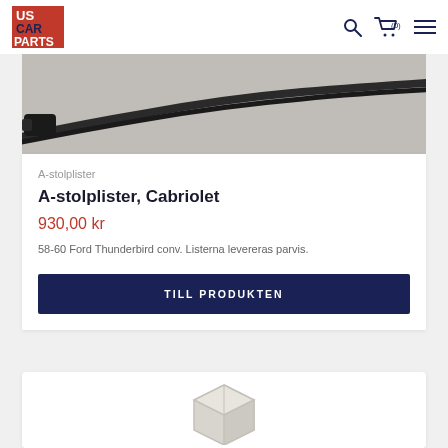US CAR PARTS — navigation bar with logo, search icon, cart (0), and menu
[Figure (photo): Close-up photo of a black rubber/plastic trim strip (A-pillar molding) on a light grey background]
A-stolplister
A-stolplister, Cabriolet
930,00 kr
58-60 Ford Thunderbird conv. Listerna levereras parvis.
TILL PRODUKTEN
[Figure (illustration): Placeholder box/package illustration in light grey on white background]